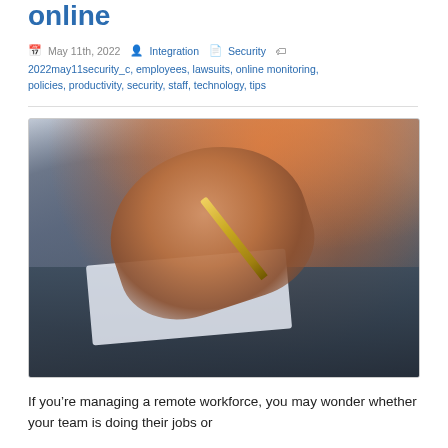online
May 11th, 2022  Integration  Security  2022may11security_c, employees, lawsuits, online monitoring, policies, productivity, security, staff, technology, tips
[Figure (photo): Close-up photo of a person's hand holding a gold pen, writing on paper on top of a laptop keyboard, with warm orange backlight.]
If you’re managing a remote workforce, you may wonder whether your team is doing their jobs or